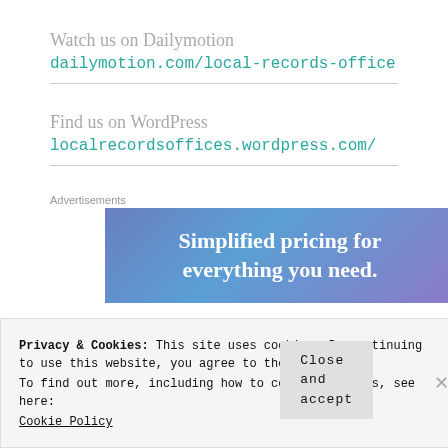Watch us on Dailymotion
dailymotion.com/local-records-office
Find us on WordPress
localrecordsoffices.wordpress.com/
Advertisements
[Figure (other): Advertisement banner with gradient blue/purple background and text: Simplified pricing for everything you need.]
Privacy & Cookies: This site uses cookies. By continuing to use this website, you agree to their use.
To find out more, including how to control cookies, see here:
Cookie Policy
Close and accept